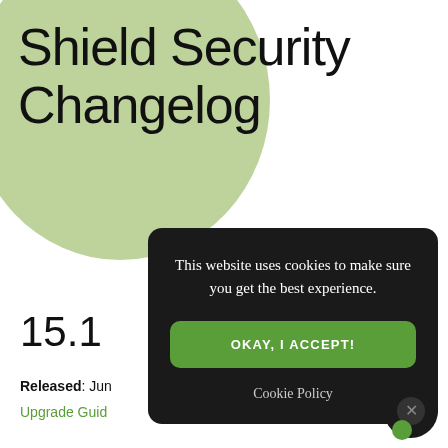Shield Security Changelog
15.1
Released: Jun...
Upgrade Guid...
[Figure (screenshot): Cookie consent modal with dark background, text 'This website uses cookies to make sure you get the best experience.', a green 'OKAY, I ACCEPT!' button, and a 'Cookie Policy' link]
This website uses cookies to make sure you get the best experience.
OKAY, I ACCEPT!
Cookie Policy